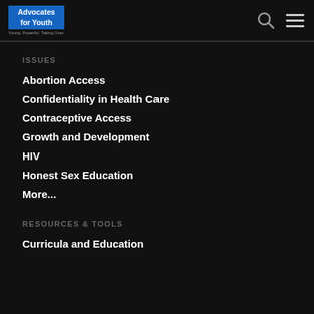Advocates for Youth — Young. Powerful. Taking Over.
Issues
Abortion Access
Confidentiality in Health Care
Contraceptive Access
Growth and Development
HIV
Honest Sex Education
More...
Resources & Tools
Curricula and Education